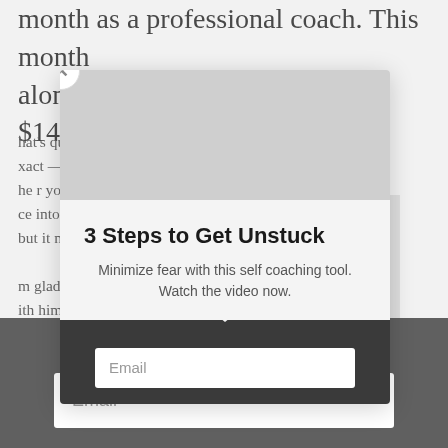month as a professional coach. This month alone (July 2018) he's made over $14,000
That's quite an improvement — 10X to be exact — for just a year and a half. Especially when you consider the habitual dinner move he into his group. Premise was he coached but it might be too much of a stretch for him. I'm glad I didn't underestimate him. Working with him has validated 3 things we can all benefit from in changing our careers, but they don't deserve that. He'd chosen to be bold. Instead of playing small or finding ways to just use this skill to use the time
[Figure (photo): Blurred background image visible behind modal overlay]
3 Steps to Get Unstuck
Minimize fear with this self coaching tool. Watch the video now.
Email